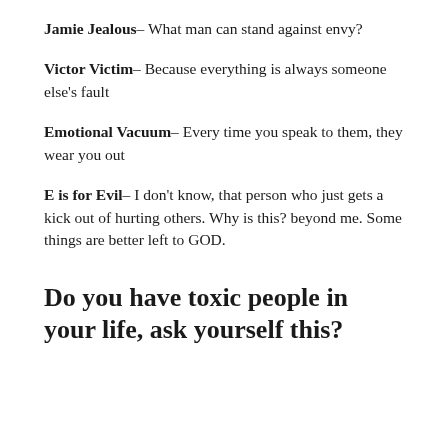Jamie Jealous– What man can stand against envy?
Victor Victim– Because everything is always someone else's fault
Emotional Vacuum– Every time you speak to them, they wear you out
E is for Evil– I don't know, that person who just gets a kick out of hurting others. Why is this? beyond me. Some things are better left to GOD.
Do you have toxic people in your life, ask yourself this?